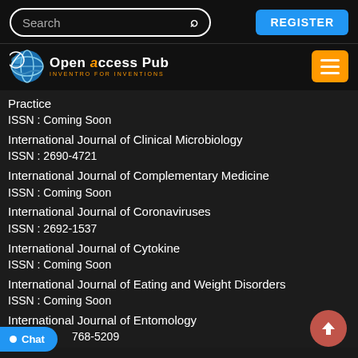Search | REGISTER
[Figure (logo): Open Access Pub logo with globe icon and tagline INVENTRO FOR INVENTIONS]
Practice
ISSN : Coming Soon
International Journal of Clinical Microbiology
ISSN : 2690-4721
International Journal of Complementary Medicine
ISSN : Coming Soon
International Journal of Coronaviruses
ISSN : 2692-1537
International Journal of Cytokine
ISSN : Coming Soon
International Journal of Eating and Weight Disorders
ISSN : Coming Soon
International Journal of Entomology
ISSN : 2768-5209